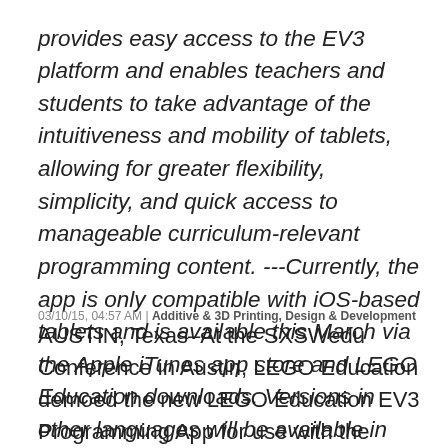provides easy access to the EV3 platform and enables teachers and students to take advantage of the intuitiveness and mobility of tablets, allowing for greater flexibility, simplicity, and quick access to manageable curriculum-relevant programming content. ---Currently, the app is only compatible with iOS-based tablets and is available this March via the Apple iTunes app store and LEGO Education downloads. Versions in other languages will be available in June 2015.
03/10/15, 04:57 AM | Additive & 3D Printing, Design & Development
AUSTIN, Texas–At the SXSWedu Conference in Austin, LEGO Education demoed the new LEGO Education EV3 Programming App for use with the LEGO MINDSTORMS Education EV3 solution. The